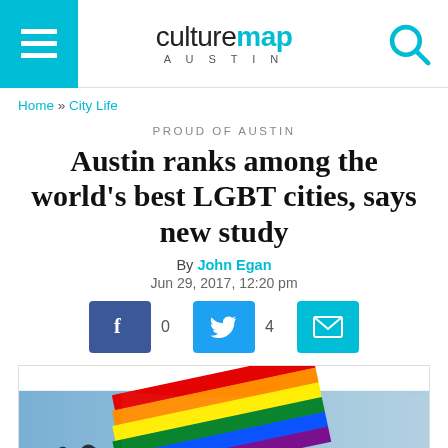culturemap AUSTIN
Home » City Life
PROUD OF AUSTIN
Austin ranks among the world's best LGBT cities, says new study
By John Egan
Jun 29, 2017, 12:20 pm
[Figure (infographic): Social share buttons: Facebook (0 shares), Twitter (4 shares), Email]
[Figure (photo): Person waving a rainbow LGBT pride flag against a blue sky]